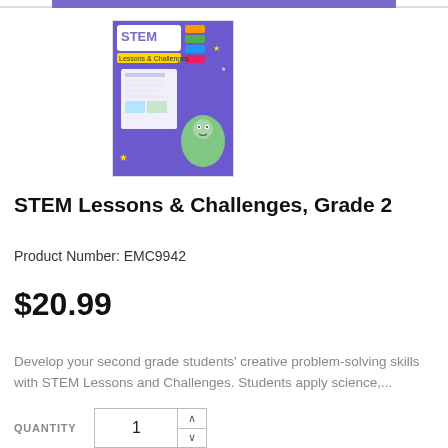[Figure (illustration): Book cover of STEM Lessons & Challenges, Grade 2 — colorful educational workbook cover with STEM logo, worksheets, and cartoon graphics on a purple background.]
STEM Lessons & Challenges, Grade 2
Product Number: EMC9942
$20.99
Develop your second grade students' creative problem-solving skills with STEM Lessons and Challenges. Students apply science,...
QUANTITY 1